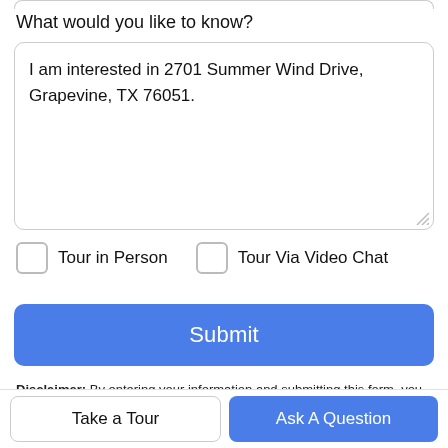What would you like to know?
I am interested in 2701 Summer Wind Drive, Grapevine, TX 76051.
Tour in Person
Tour Via Video Chat
Submit
Disclaimer: By entering your information and submitting this form, you agree to our Terms of Use and Privacy Policy and that you may be contacted by phone, text message and email about your inquiry.
Take a Tour
Ask A Question